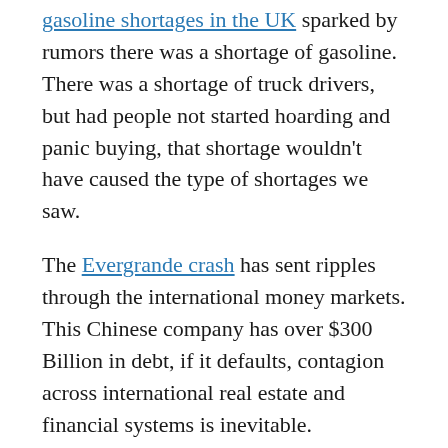gasoline shortages in the UK sparked by rumors there was a shortage of gasoline. There was a shortage of truck drivers, but had people not started hoarding and panic buying, that shortage wouldn't have caused the type of shortages we saw.
The Evergrande crash has sent ripples through the international money markets. This Chinese company has over $300 Billion in debt, if it defaults, contagion across international real estate and financial systems is inevitable.
Political polarization in the US hit a crescendo on January 6th as Trump supporters spurred on by his comments and conspiracy theories led to